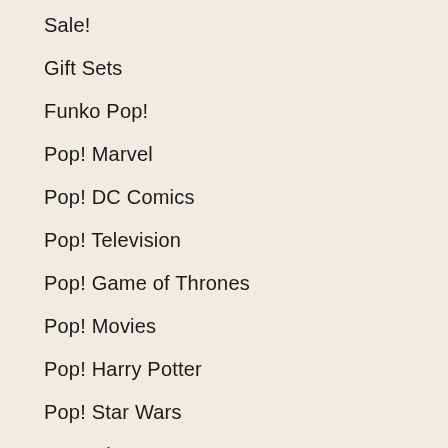Sale!
Gift Sets
Funko Pop!
Pop! Marvel
Pop! DC Comics
Pop! Television
Pop! Game of Thrones
Pop! Movies
Pop! Harry Potter
Pop! Star Wars
Pop! Disney
Pop! Games
Pop! Animation & Anime
Pop! Ad Icons